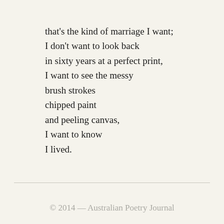that’s the kind of marriage I want;
I don’t want to look back
in sixty years at a perfect print,
I want to see the messy
brush strokes
chipped paint
and peeling canvas,
I want to know
I lived.
© 2014 — Australian Poetry Journal